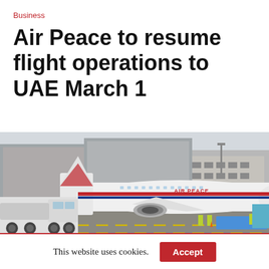Business
Air Peace to resume flight operations to UAE March 1
[Figure (photo): An Air Peace Boeing 737 aircraft parked on the tarmac at an airport, with a fuel tanker truck on the left, ground crew in yellow vests visible on the right, and airport terminal building in the background.]
This website uses cookies.  Accept